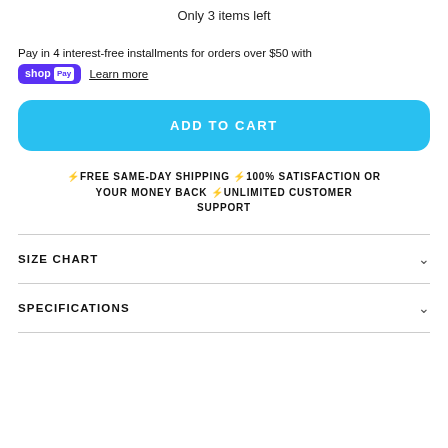Only 3 items left
Pay in 4 interest-free installments for orders over $50 with shop Pay  Learn more
ADD TO CART
⚡FREE SAME-DAY SHIPPING ⚡100% SATISFACTION OR YOUR MONEY BACK ⚡UNLIMITED CUSTOMER SUPPORT
SIZE CHART
SPECIFICATIONS